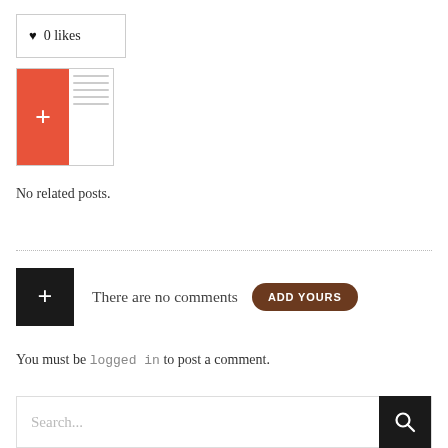♥ 0 likes
[Figure (other): A red plus button with faint horizontal lines suggesting an image placeholder]
No related posts.
There are no comments  ADD YOURS
You must be logged in to post a comment.
Search...